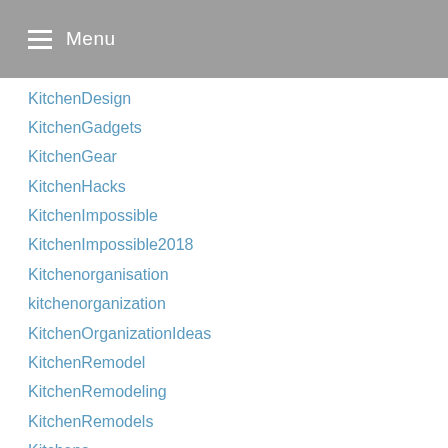Menu
KitchenDesign
KitchenGadgets
KitchenGear
KitchenHacks
KitchenImpossible
KitchenImpossible2018
Kitchenorganisation
kitchenorganization
KitchenOrganizationIdeas
KitchenRemodel
KitchenRemodeling
KitchenRemodels
Kitchens
KitchenStoriesRezepte
KitchensUnder
KitchenTableFortCollinsCo